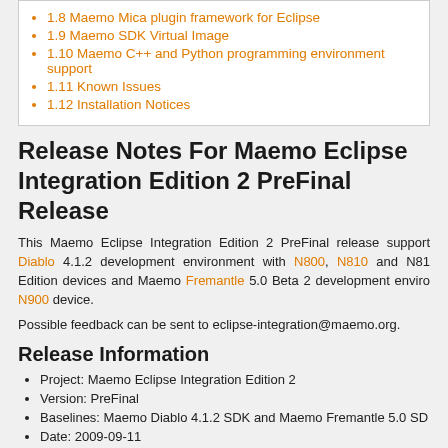1.8 Maemo Mica plugin framework for Eclipse
1.9 Maemo SDK Virtual Image
1.10 Maemo C++ and Python programming environment support
1.11 Known Issues
1.12 Installation Notices
Release Notes For Maemo Eclipse Integration Edition 2 PreFinal Release
This Maemo Eclipse Integration Edition 2 PreFinal release supports the Maemo Diablo 4.1.2 development environment with N800, N810 and N810 WiMAX Edition devices and Maemo Fremantle 5.0 Beta 2 development environment with N900 device.
Possible feedback can be sent to eclipse-integration@maemo.org.
Release Information
Project: Maemo Eclipse Integration Edition 2
Version: PreFinal
Baselines: Maemo Diablo 4.1.2 SDK and Maemo Fremantle 5.0 SD
Date: 2009-09-11
General Information